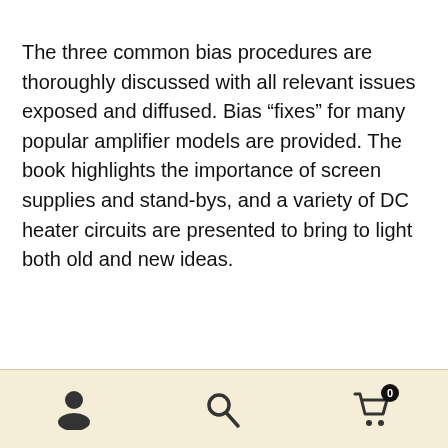The three common bias procedures are thoroughly discussed with all relevant issues exposed and diffused. Bias “fixes” for many popular amplifier models are provided. The book highlights the importance of screen supplies and stand-bys, and a variety of DC heater circuits are presented to bring to light both old and new ideas.
[Figure (other): Website navigation footer bar with three icons: a user/person icon, a search magnifying glass icon, and a shopping cart icon with badge showing 0.]